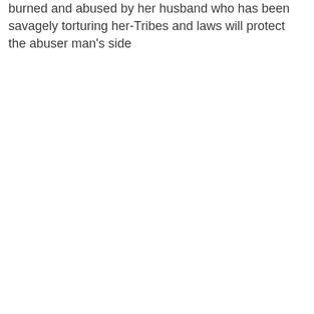burned and abused by her husband who has been savagely torturing her-Tribes and laws will protect the abuser man's side